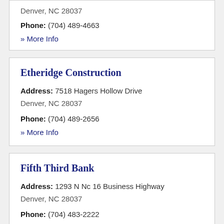Denver, NC 28037
Phone: (704) 489-4663
» More Info
Etheridge Construction
Address: 7518 Hagers Hollow Drive Denver, NC 28037
Phone: (704) 489-2656
» More Info
Fifth Third Bank
Address: 1293 N Nc 16 Business Highway Denver, NC 28037
Phone: (704) 483-2222